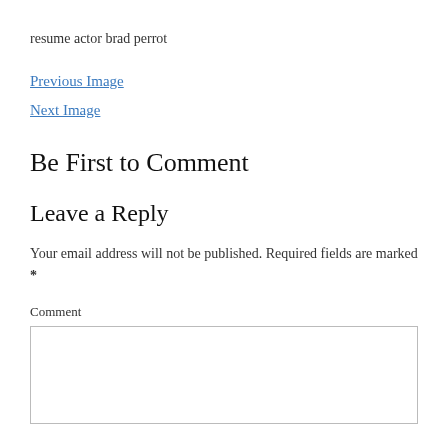resume actor brad perrot
Previous Image
Next Image
Be First to Comment
Leave a Reply
Your email address will not be published. Required fields are marked *
Comment